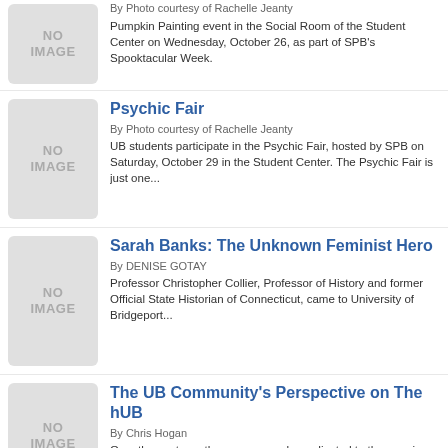[Figure (photo): No image placeholder box]
By Photo courtesy of Rachelle Jeanty
Pumpkin Painting event in the Social Room of the Student Center on Wednesday, October 26, as part of SPB's Spooktacular Week.
[Figure (photo): No image placeholder box]
Psychic Fair
By Photo courtesy of Rachelle Jeanty
UB students participate in the Psychic Fair, hosted by SPB on Saturday, October 29 in the Student Center. The Psychic Fair is just one...
[Figure (photo): No image placeholder box]
Sarah Banks: The Unknown Feminist Hero
By DENISE GOTAY
Professor Christopher Collier, Professor of History and former Official State Historian of Connecticut, came to University of Bridgeport...
[Figure (photo): No image placeholder box]
The UB Community's Perspective on The hUB
By Chris Hogan
Over the past month, as everyone has adjusted to the opening and convergence of the hUB into the old small dining hall in Marina, there...